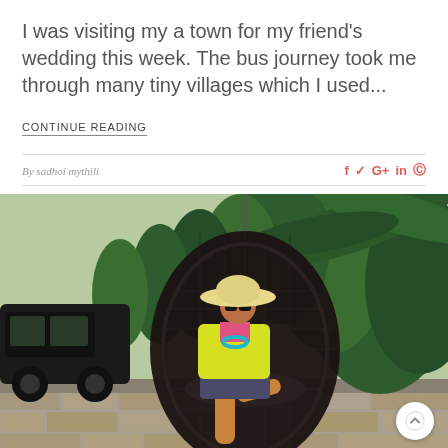I was visiting my a town for my friend's wedding this week. The bus journey took me through many tiny villages which I used...
CONTINUE READING
By sadhoi mythili
[Figure (photo): A woman wearing a wide-brim sun hat and yellow blazer sits inside a large egg-shaped hanging wicker chair outdoors, surrounded by tropical green plants. A black SUV is parked in the background on the left.]